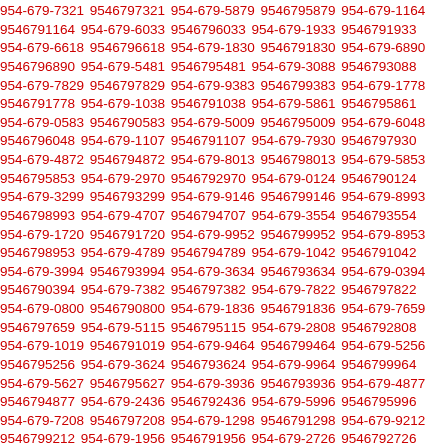954-679-7321 9546797321 954-679-5879 9546795879 954-679-1164 9546791164 954-679-6033 9546796033 954-679-1933 9546791933 954-679-6618 9546796618 954-679-1830 9546791830 954-679-6890 9546796890 954-679-5481 9546795481 954-679-3088 9546793088 954-679-7829 9546797829 954-679-9383 9546799383 954-679-1778 9546791778 954-679-1038 9546791038 954-679-5861 9546795861 954-679-0583 9546790583 954-679-5009 9546795009 954-679-6048 9546796048 954-679-1107 9546791107 954-679-7930 9546797930 954-679-4872 9546794872 954-679-8013 9546798013 954-679-5853 9546795853 954-679-2970 9546792970 954-679-0124 9546790124 954-679-3299 9546793299 954-679-9146 9546799146 954-679-8993 9546798993 954-679-4707 9546794707 954-679-3554 9546793554 954-679-1720 9546791720 954-679-9952 9546799952 954-679-8953 9546798953 954-679-4789 9546794789 954-679-1042 9546791042 954-679-3994 9546793994 954-679-3634 9546793634 954-679-0394 9546790394 954-679-7382 9546797382 954-679-7822 9546797822 954-679-0800 9546790800 954-679-1836 9546791836 954-679-7659 9546797659 954-679-5115 9546795115 954-679-2808 9546792808 954-679-1019 9546791019 954-679-9464 9546799464 954-679-5256 9546795256 954-679-3624 9546793624 954-679-9964 9546799964 954-679-5627 9546795627 954-679-3936 9546793936 954-679-4877 9546794877 954-679-2436 9546792436 954-679-5996 9546795996 954-679-7208 9546797208 954-679-1298 9546791298 954-679-9212 9546799212 954-679-1956 9546791956 954-679-2726 9546792726 954-679-7918 9546797918 954-679-8852 9546798852 954-679-7335 9546797335 954-679-3158 9546793158 954-679-8682 9546798682